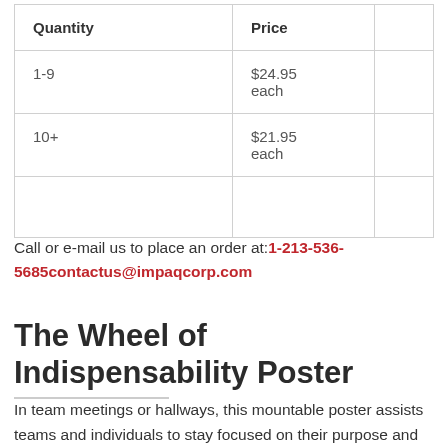| Quantity | Price |  |
| --- | --- | --- |
| 1-9 | $24.95 each |  |
| 10+ | $21.95 each |  |
|  |  |  |
Call or e-mail us to place an order at:1-213-536-5685contactus@impaqcorp.com
The Wheel of Indispensability Poster
In team meetings or hallways, this mountable poster assists teams and individuals to stay focused on their purpose and priorities, to